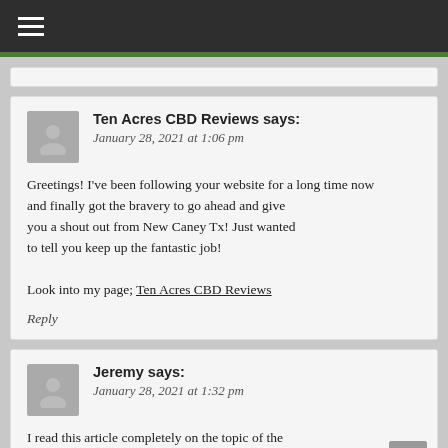☰
Ten Acres CBD Reviews says: January 28, 2021 at 1:06 pm
Greetings! I've been following your website for a long time now and finally got the bravery to go ahead and give you a shout out from New Caney Tx! Just wanted to tell you keep up the fantastic job!

Look into my page; Ten Acres CBD Reviews
Reply
Jeremy says: January 28, 2021 at 1:32 pm
I read this article completely on the topic of the resemblance of most up-to-date and previous technologies,